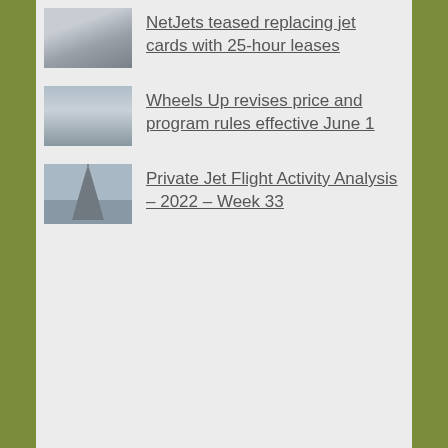NetJets teased replacing jet cards with 25-hour leases
Wheels Up revises price and program rules effective June 1
Private Jet Flight Activity Analysis – 2022 – Week 33